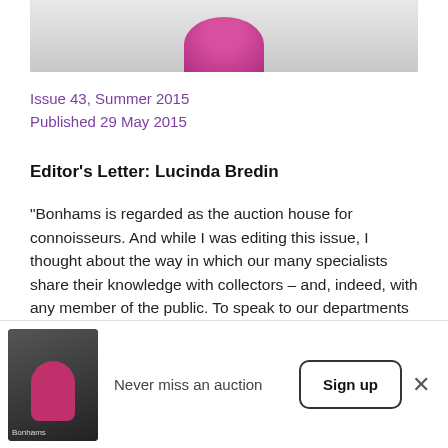[Figure (photo): Top portion of a photo showing a pink/magenta rounded shape against a light wall background]
Issue 43, Summer 2015
Published 29 May 2015
Editor's Letter: Lucinda Bredin
"Bonhams is regarded as the auction house for connoisseurs. And while I was editing this issue, I thought about the way in which our many specialists share their knowledge with collectors – and, indeed, with any member of the public. To speak to our departments about any object that falls within Bonhams' 60 different collecting areas
[Figure (photo): Small thumbnail photo of a person in pink top with arm raised, with Bonhams branding visible at bottom]
Never miss an auction
Sign up